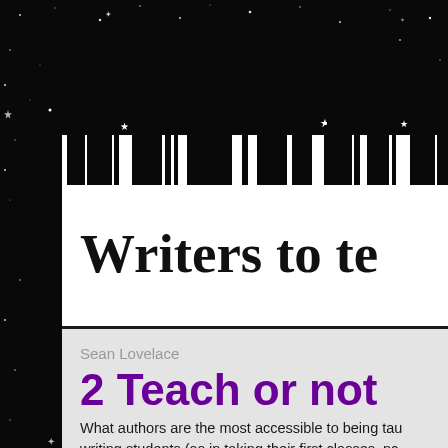[Figure (illustration): Decorative header with black starfield background and white silhouette shapes of robotic/architectural forms and stars at the top of the page]
Writers to te
Sean Lovelace
2 Teach or not
What authors are the most accessible to being tau writing students (as in taking their first classes, nc not?